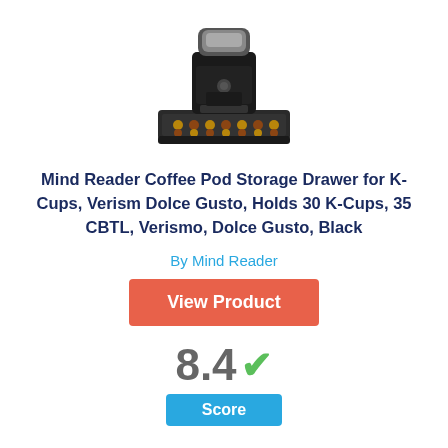[Figure (photo): Black coffee pod machine/K-Cup brewer sitting on top of a black coffee pod storage drawer tray]
Mind Reader Coffee Pod Storage Drawer for K-Cups, Verism Dolce Gusto, Holds 30 K-Cups, 35 CBTL, Verismo, Dolce Gusto, Black
By Mind Reader
View Product
8.4 Score